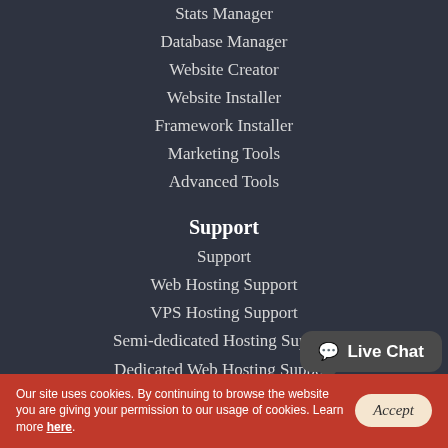Stats Manager
Database Manager
Website Creator
Website Installer
Framework Installer
Marketing Tools
Advanced Tools
Support
Support
Web Hosting Support
VPS Hosting Support
Semi-dedicated Hosting Support
Dedicated Web Hosting Support
Dedicated Admin Services
VPS Admin Services
Live Chat
Our site uses cookies. By continuing to browse the website you are giving your permission to our usage of cookies. Learn more here.